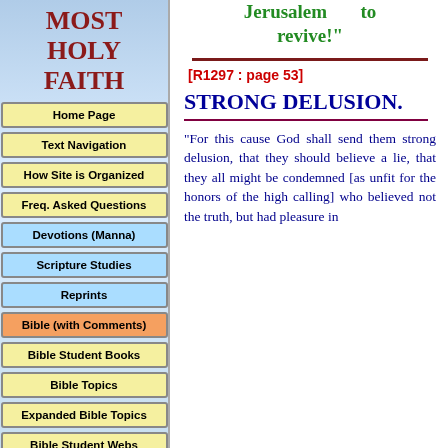MOST HOLY FAITH
Home Page
Text Navigation
How Site is Organized
Freq. Asked Questions
Devotions (Manna)
Scripture Studies
Reprints
Bible (with Comments)
Bible Student Books
Bible Topics
Expanded Bible Topics
Bible Student Webs
Miscellaneous
Jerusalem      to revive!"
[R1297 : page 53]
STRONG DELUSION.
"For this cause God shall send them strong delusion, that they should believe a lie, that they all might be condemned [as unfit for the honors of the high calling] who believed not the truth, but had pleasure in